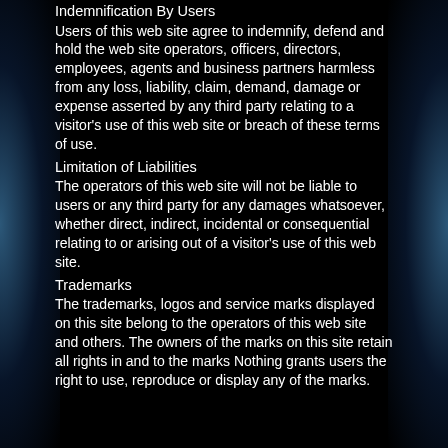Indemnification By Users
Users of this web site agree to indemnify, defend and hold the web site operators, officers, directors, employees, agents and business partners harmless from any loss, liability, claim, demand, damage or expense asserted by any third party relating to a visitor's use of this web site or breach of these terms of use.
Limitation of Liabilities
The operators of this web site will not be liable to users or any third party for any damages whatsoever, whether direct, indirect, incidental or consequential relating to or arising out of a visitor's use of this web site.
Trademarks
The trademarks, logos and service marks displayed on this site belong to the operators of this web site and others. The owners of the marks on this site retain all rights in and to the marks Nothing grants users the right to use, reproduce or display any of the marks.